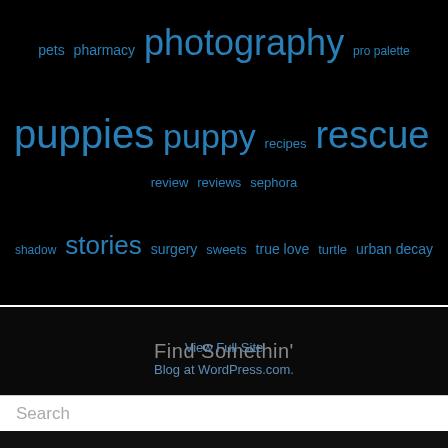[Figure (infographic): Tag cloud on black background with blue tags: pets, pharmacy, photography (large), pro palette, puppies (large), puppy (large), recipes, rescue (large), review, reviews, sephora, shadow, stories (medium-large), surgery, sweets, true love, turtle, urban decay]
Find Somethin'
Search
[Figure (illustration): Salmon/coral and white moroccan quatrefoil geometric tile pattern]
View Full Site
Blog at WordPress.com.